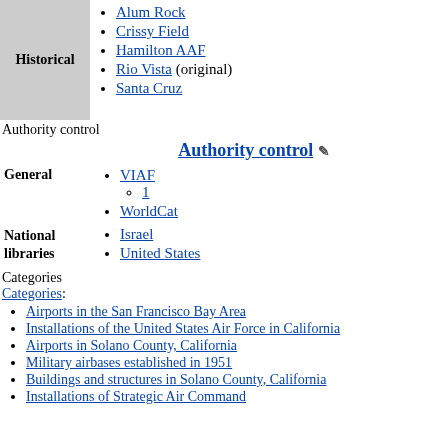|  |  |
| --- | --- |
| Historical | Alum Rock
Crissy Field
Hamilton AAF
Rio Vista (original)
Santa Cruz |
Authority control
Authority control
|  |  |
| --- | --- |
| General | VIAF
  1
WorldCat |
| National libraries | Israel
United States |
Categories
Categories:
Airports in the San Francisco Bay Area
Installations of the United States Air Force in California
Airports in Solano County, California
Military airbases established in 1951
Buildings and structures in Solano County, California
Installations of Strategic Air Command